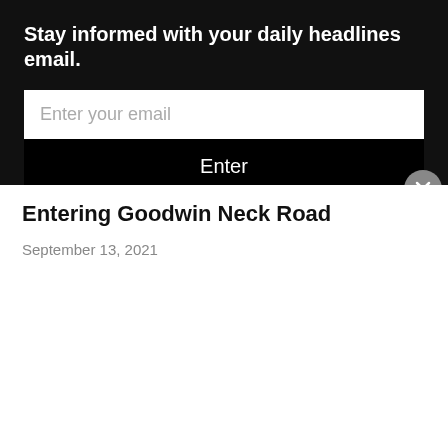Stay informed with your daily headlines email.
[Figure (screenshot): Email subscription form with text input field and Enter button on dark background]
Entering Goodwin Neck Road
September 13, 2021